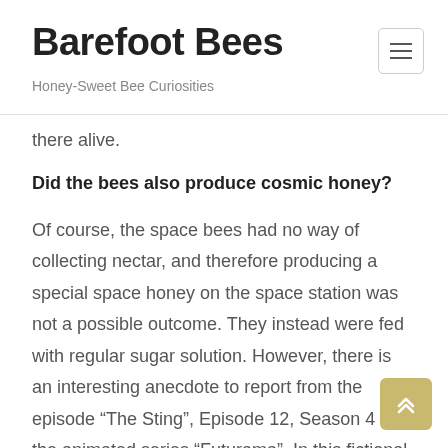Barefoot Bees — Honey-Sweet Bee Curiosities
there alive.
Did the bees also produce cosmic honey?
Of course, the space bees had no way of collecting nectar, and therefore producing a special space honey on the space station was not a possible outcome. They instead were fed with regular sugar solution. However, there is an interesting anecdote to report from the episode “The Sting”, Episode 12, Season 4 of the animated series “Futurama”. In this fictional story, the crew of the space courier Planet Express is supposed to collect space honey